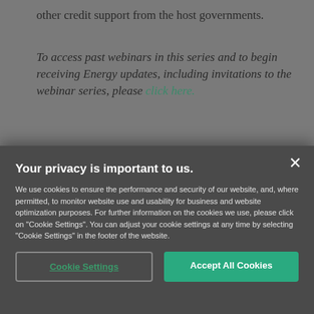other credit support from the host governments.
To access past webinars in this series and to begin receiving Energy updates, including invitations to the webinar series, please click here.
[Figure (other): Row of five dark social media icon buttons]
Your privacy is important to us.
We use cookies to ensure the performance and security of our website, and, where permitted, to monitor website use and usability for business and website optimization purposes. For further information on the cookies we use, please click on "Cookie Settings". You can adjust your cookie settings at any time by selecting "Cookie Settings" in the footer of the website.
Cookie Settings   Accept All Cookies